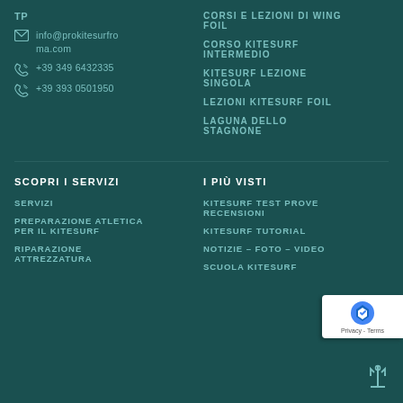TP
info@prokitesurfroma.com
+39 349 6432335
+39 393 0501950
CORSI E LEZIONI DI WING FOIL
CORSO KITESURF INTERMEDIO
KITESURF LEZIONE SINGOLA
LEZIONI KITESURF FOIL
LAGUNA DELLO STAGNONE
SCOPRI I SERVIZI
SERVIZI
PREPARAZIONE ATLETICA PER IL KITESURF
RIPARAZIONE ATTREZZATURA
I PIÙ VISTI
KITESURF TEST PROVE RECENSIONI
KITESURF TUTORIAL
NOTIZIE – FOTO – VIDEO
SCUOLA KITESURF